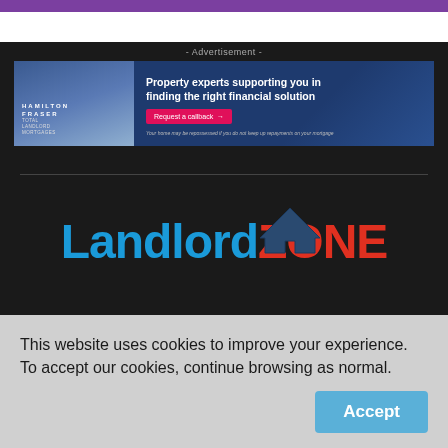- Advertisement -
[Figure (illustration): Hamilton Fraser Total Landlord Mortgages advertisement banner. Blue banner with photo of person, text: 'Property experts supporting you in finding the right financial solution', pink 'Request a callback' button, disclaimer text: 'Your home may be repossessed if you do not keep up repayments on your mortgage']
[Figure (logo): LandlordZONE logo with house icon — 'Landlord' in blue, 'ZONE' in red]
This website uses cookies to improve your experience. To accept our cookies, continue browsing as normal.